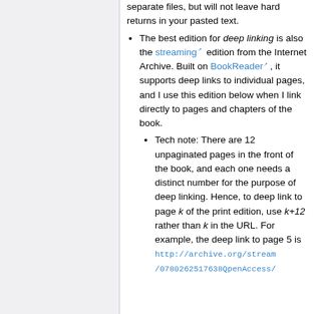separate files, but will not leave hard returns in your pasted text.
The best edition for deep linking is also the streaming edition from the Internet Archive. Built on BookReader, it supports deep links to individual pages, and I use this edition below when I link directly to pages and chapters of the book.
Tech note: There are 12 unpaginated pages in the front of the book, and each one needs a distinct number for the purpose of deep linking. Hence, to deep link to page k of the print edition, use k+12 rather than k in the URL. For example, the deep link to page 5 is http://archive.org/stream/0780262517638QpenAccess/